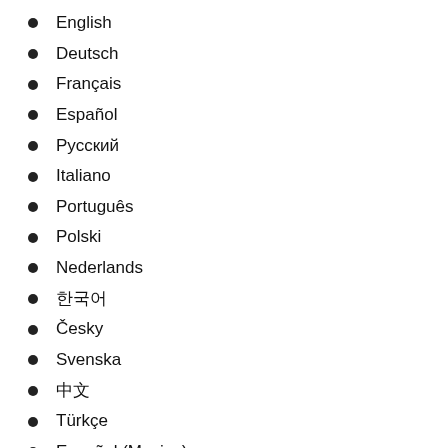English
Deutsch
Français
Español
Русский
Italiano
Português
Polski
Nederlands
한국어
Česky
Svenska
中文
Türkçe
Español (Mexico)
Ελληνικά
日本語